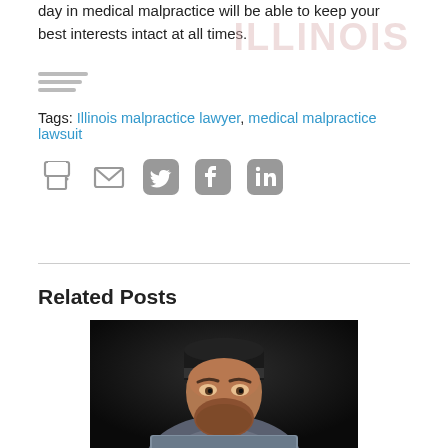day in medical malpractice will be able to keep your best interests intact at all times.
Tags: Illinois malpractice lawyer, medical malpractice lawsuit
[Figure (other): Social sharing icons: print, email, Twitter, Facebook, LinkedIn]
Related Posts
[Figure (photo): Close-up photo of a bearded man in a dark beanie hat looking intensely over the top of a laptop screen]